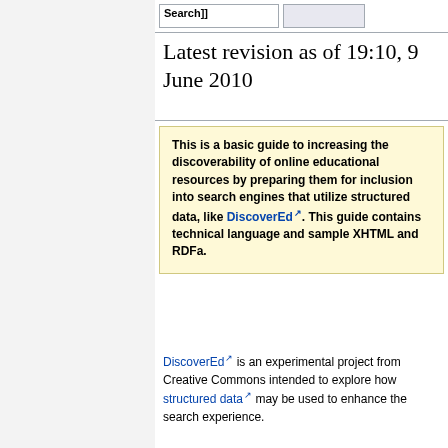Latest revision as of 19:10, 9 June 2010
This is a basic guide to increasing the discoverability of online educational resources by preparing them for inclusion into search engines that utilize structured data, like DiscoverEd. This guide contains technical language and sample XHTML and RDFa.
DiscoverEd is an experimental project from Creative Commons intended to explore how structured data may be used to enhance the search experience.